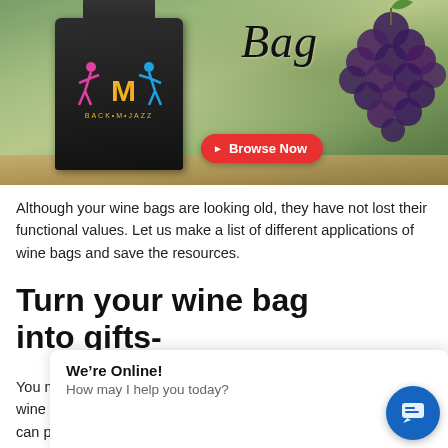[Figure (photo): Banner image showing a dark fabric bag with a colorful logo (Back to Jazz brand) on a blurred vineyard/grapes background. A red 'Browse Now' button is overlaid on the right side. The word 'Bag' appears in italic serif font at the top right of the banner.]
Although your wine bags are looking old, they have not lost their functional values. Let us make a list of different applications of wine bags and save the resources.
Turn your wine bag into gifts-
You may decorate your fabric wine bags with threads. Some wine bags are small in size with drawstring closures. Thus, you can put small gifts into these bags and use them on any occasion. It is best to put some oblong-shaped gifts to fit them. Now put your imagination to be creative to make the best use of your wine
We're Online!
How may I help you today?